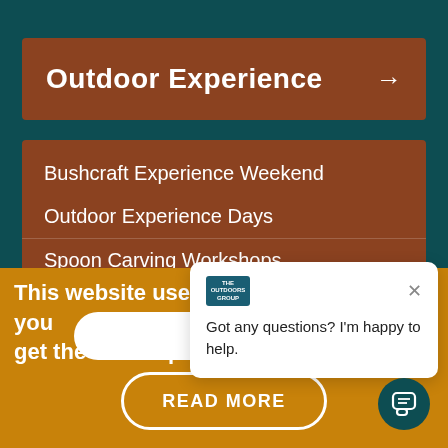Outdoor Experience →
Bushcraft Experience Weekend
Outdoor Experience Days
Spoon Carving Workshops
This website uses cookies to ensure you get the best expe...
[Figure (screenshot): Chat popup with logo and message: Got any questions? I'm happy to help.]
Got any questions? I'm happy to help.
READ MORE